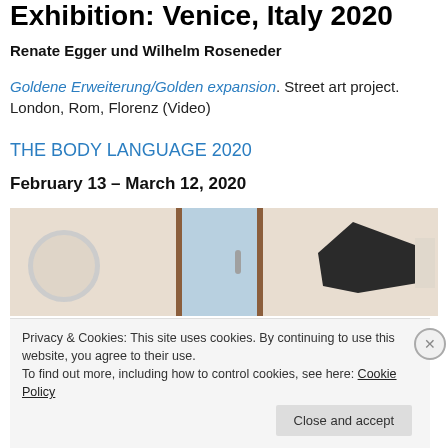Exhibition: Venice, Italy 2020
Renate Egger und Wilhelm Roseneder
Goldene Erweiterung/Golden expansion. Street art project. London, Rom, Florenz (Video)
THE BODY LANGUAGE 2020
February 13 – March 12, 2020
[Figure (photo): Interior gallery photo showing panels/doors with a dark sculptural form on the right]
Privacy & Cookies: This site uses cookies. By continuing to use this website, you agree to their use.
To find out more, including how to control cookies, see here: Cookie Policy